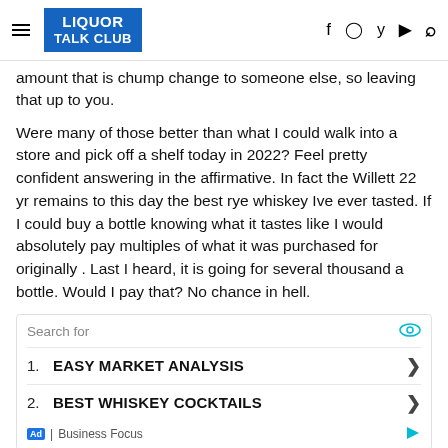LIQUOR TALK CLUB
amount that is chump change to someone else, so leaving that up to you.
Were many of those better than what I could walk into a store and pick off a shelf today in 2022? Feel pretty confident answering in the affirmative. In fact the Willett 22 yr remains to this day the best rye whiskey Ive ever tasted. If I could buy a bottle knowing what it tastes like I would absolutely pay multiples of what it was purchased for originally . Last I heard, it is going for several thousand a bottle. Would I pay that? No chance in hell.
[Figure (infographic): Ad box with search results: 1. EASY MARKET ANALYSIS, 2. BEST WHISKEY COCKTAILS. Business Focus ad label.]